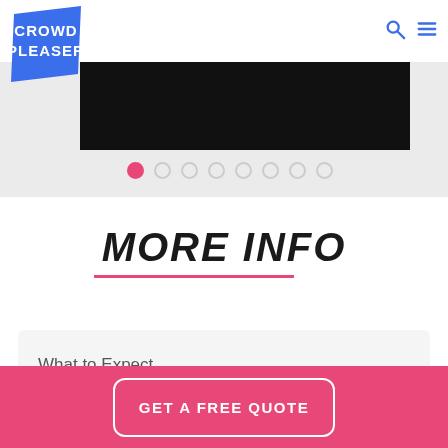[Figure (logo): Crowd Pleaser logo — blue parallelogram/stamp shape with white bold text reading CROWD PLEASER]
[Figure (screenshot): Navigation icons: magnifying glass (search) and hamburger menu, in blue, top-right of header]
[Figure (screenshot): Carousel area with a black image banner and 8 pagination dots below, first dot filled pink, rest outlined]
MORE INFO
What to Expect
GET A FREE QUOTE